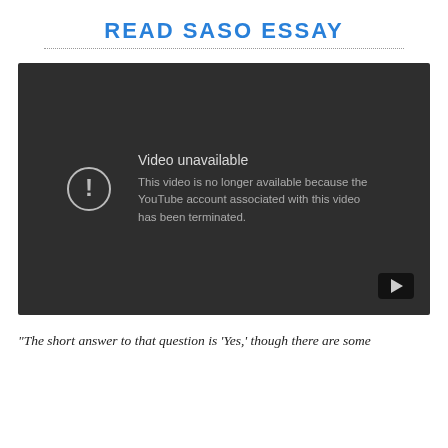READ SASO ESSAY
[Figure (screenshot): YouTube video player showing 'Video unavailable' error message: 'This video is no longer available because the YouTube account associated with this video has been terminated.']
“The short answer to that question is ‘Yes,’ though there are some